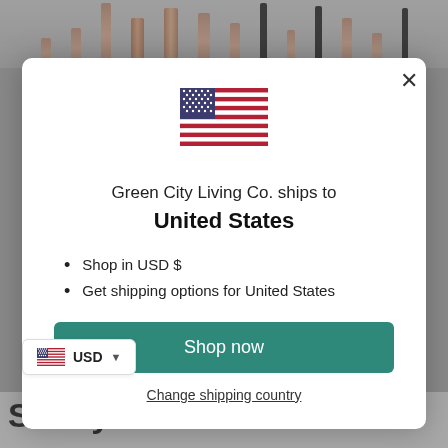[Figure (screenshot): Modal dialog popup on an e-commerce website showing shipping destination. Contains a US flag icon, text 'Green City Living Co. ships to United States', bullet points about USD shopping and shipping options, a green 'Shop now' button, and a 'Change shipping country' link. Bottom shows a USD currency selector badge and partial product title 'Safety Razor with 20'.]
Green City Living Co. ships to United States
Shop in USD $
Get shipping options for United States
Shop now
Change shipping country
USD
Safety Razor with 20